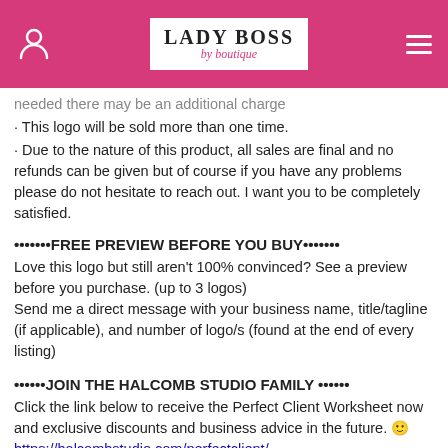LADY BOSS by boutique
needed there may be an additional charge
- This logo will be sold more than one time.
- Due to the nature of this product, all sales are final and no refunds can be given but of course if you have any problems please do not hesitate to reach out. I want you to be completely satisfied.
•••••••FREE PREVIEW BEFORE YOU BUY•••••••
Love this logo but still aren't 100% convinced? See a preview before you purchase. (up to 3 logos)
Send me a direct message with your business name, title/tagline (if applicable), and number of logo/s (found at the end of every listing)
••••••JOIN THE HALCOMB STUDIO FAMILY ••••••
Click the link below to receive the Perfect Client Worksheet now and exclusive discounts and business advice in the future. 🙂
https://halcombstudio.com/perfectclient/